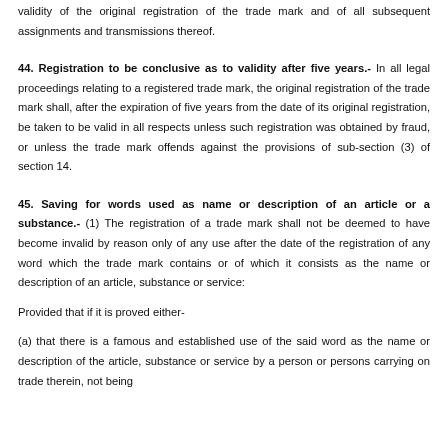validity of the original registration of the trade mark and of all subsequent assignments and transmissions thereof.
44. Registration to be conclusive as to validity after five years.- In all legal proceedings relating to a registered trade mark, the original registration of the trade mark shall, after the expiration of five years from the date of its original registration, be taken to be valid in all respects unless such registration was obtained by fraud, or unless the trade mark offends against the provisions of sub-section (3) of section 14.
45. Saving for words used as name or description of an article or a substance.- (1) The registration of a trade mark shall not be deemed to have become invalid by reason only of any use after the date of the registration of any word which the trade mark contains or of which it consists as the name or description of an article, substance or service:
Provided that if it is proved either-
(a) that there is a famous and established use of the said word as the name or description of the article, substance or service by a person or persons carrying on trade therein, not being